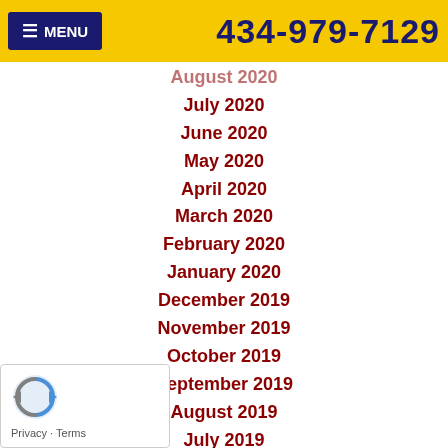☰ MENU   434-979-7129
August 2020
July 2020
June 2020
May 2020
April 2020
March 2020
February 2020
January 2020
December 2019
November 2019
October 2019
September 2019
August 2019
July 2019
June 2019
May 2019
April 2019
March 2019
February 2019